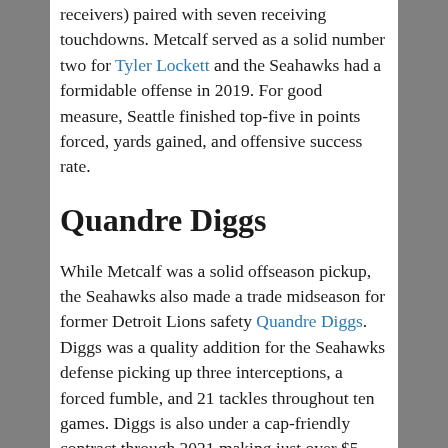receivers) paired with seven receiving touchdowns. Metcalf served as a solid number two for Tyler Lockett and the Seahawks had a formidable offense in 2019. For good measure, Seattle finished top-five in points forced, yards gained, and offensive success rate.
Quandre Diggs
While Metcalf was a solid offseason pickup, the Seahawks also made a trade midseason for former Detroit Lions safety Quandre Diggs. Diggs was a quality addition for the Seahawks defense picking up three interceptions, a forced fumble, and 21 tackles throughout ten games. Diggs is also under a cap-friendly contract through 2021 making just over $5 million in both of those years.
What Went Wrong